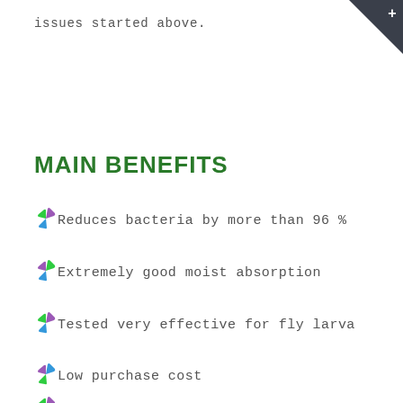issues started above.
MAIN BENEFITS
Reduces bacteria by more than 96 %
Extremely good moist absorption
Tested very effective for fly larva
Low purchase cost
Low purchase cost (continued)